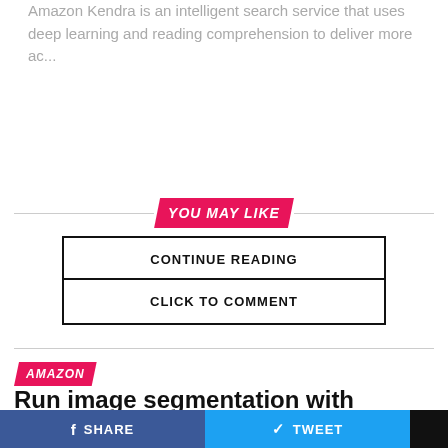Amazon Kendra is an intelligent search service that uses deep learning and reading comprehension to deliver more ac...
CONTINUE READING
YOU MAY LIKE
CLICK TO COMMENT
AMAZON
Run image segmentation with Amazon SageMaker JumpStart
In December 2020, AWS announced the general availability of Amazon SageMaker JumpStart, a capability of Amazon...
SHARE   TWEET